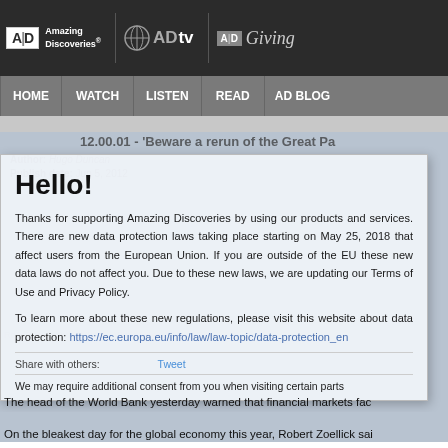Amazing Discoveries | AD tv | AD Giving
HOME | WATCH | LISTEN | READ | AD BLOG
Hello!
12.00.01 - 'Beware a rerun of the Great Pa
Author: Hugo Duncan
Publish date: Jun 5, 2012
Thanks for supporting Amazing Discoveries by using our products and services. There are new data protection laws taking place starting on May 25, 2018 that affect users from the European Union. If you are outside of the EU these new data laws do not affect you. Due to these new laws, we are updating our Terms of Use and Privacy Policy.
To learn more about these new regulations, please visit this website about data protection: https://ec.europa.eu/info/law/law-topic/data-protection_en
Share with others:    Tweet
We may require additional consent from you when visiting certain parts
The head of the World Bank yesterday warned that financial markets fac
On the bleakest day for the global economy this year, Robert Zoellick sai